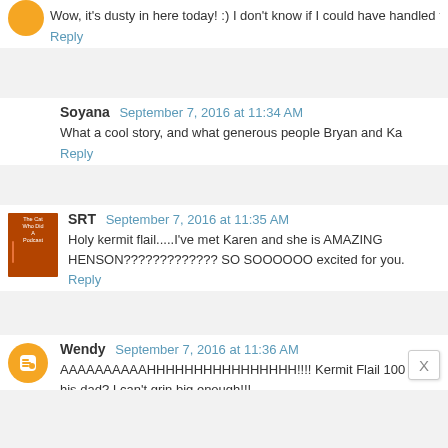Wow, it's dusty in here today! :) I don't know if I could have handled the crowds- Toronto's big con was this past weekend as well, a (snowman).
Reply
Soyana  September 7, 2016 at 11:34 AM
What a cool story, and what generous people Bryan and Ka
Reply
SRT  September 7, 2016 at 11:35 AM
Holy kermit flail.....I've met Karen and she is AMAZING HENSON????????????? SO SOOOOOO excited for you
Reply
Wendy  September 7, 2016 at 11:36 AM
AAAAAAAAAAHHHHHHHHHHHHHHHH!!!! Kermit Flail 100 his dad? I can't grin big enough!!!
Reply